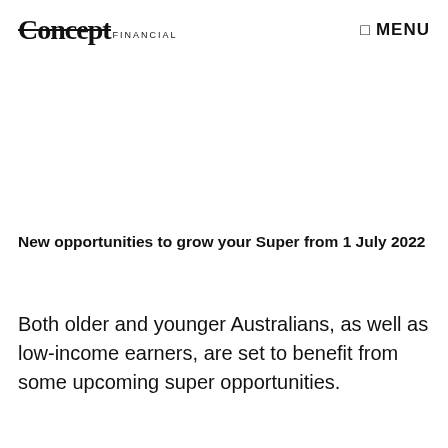Concept MENU
New opportunities to grow your Super from 1 July 2022
Both older and younger Australians, as well as low-income earners, are set to benefit from some upcoming super opportunities.